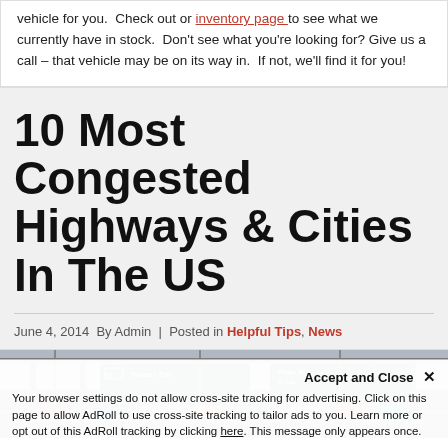vehicle for you. Check out or inventory page to see what we currently have in stock. Don't see what you're looking for? Give us a call – that vehicle may be on its way in. If not, we'll find it for you!
10 Most Congested Highways & Cities In The US
June 4, 2014  By Admin  |  Posted in Helpful Tips, News
[Figure (photo): Photo of a congested highway interchange with green overhead signs reading 'Tamiami Trail' and 'Flagler St.' with heavy traffic]
Accept and Close ×
Your browser settings do not allow cross-site tracking for advertising. Click on this page to allow AdRoll to use cross-site tracking to tailor ads to you. Learn more or opt out of this AdRoll tracking by clicking here. This message only appears once.